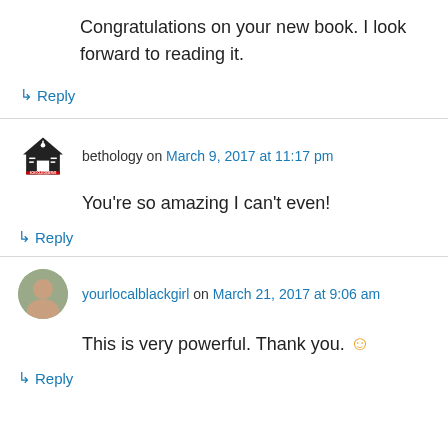Congratulations on your new book. I look forward to reading it.
↳ Reply
bethology on March 9, 2017 at 11:17 pm
You're so amazing I can't even!
↳ Reply
yourlocalblackgirl on March 21, 2017 at 9:06 am
This is very powerful. Thank you. 😊
↳ Reply